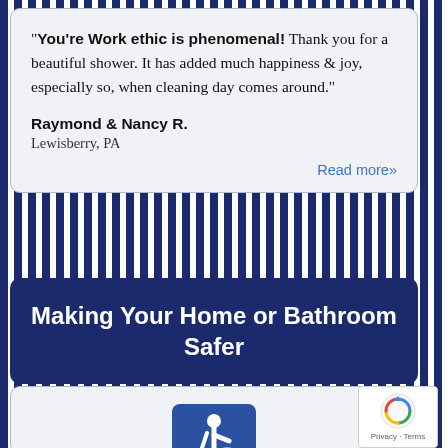"You're Work ethic is phenomenal! Thank you for a beautiful shower. It has added much happiness & joy, especially so, when cleaning day comes around."

Raymond & Nancy R.
Lewisberry, PA
Read more»
Making Your Home or Bathroom Safer
[Figure (illustration): Wheelchair accessibility icon: white wheelchair symbol on blue square background]